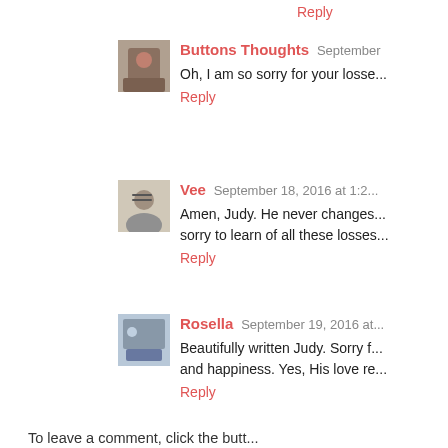Reply
Buttons Thoughts  September ...
Oh, I am so sorry for your losse...
Reply
Vee  September 18, 2016 at 1:2...
Amen, Judy. He never changes... sorry to learn of all these losses...
Reply
Rosella  September 19, 2016 at...
Beautifully written Judy. Sorry f... and happiness. Yes, His love re...
Reply
To leave a comment, click the butt...